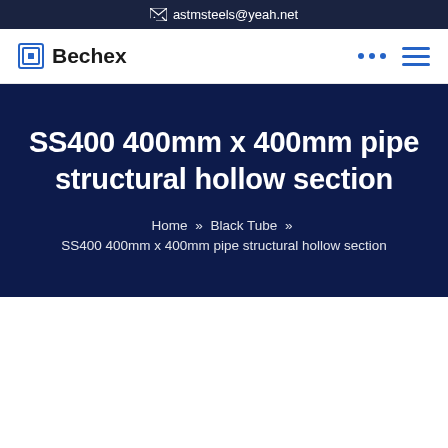astmsteels@yeah.net
Bechex
SS400 400mm x 400mm pipe structural hollow section
Home » Black Tube » SS400 400mm x 400mm pipe structural hollow section